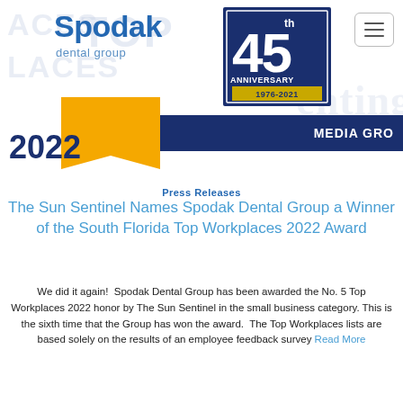[Figure (logo): Spodak Dental Group logo with 45th Anniversary badge (1976-2021) in navy blue and teal, plus a gold ribbon award badge showing 2022, a dark navy bar with MEDIA GRO text, and watermark text reading TOP PLACES / ACES and sentinel-style text in background]
Press Releases
The Sun Sentinel Names Spodak Dental Group a Winner of the South Florida Top Workplaces 2022 Award
We did it again!  Spodak Dental Group has been awarded the No. 5 Top Workplaces 2022 honor by The Sun Sentinel in the small business category. This is the sixth time that the Group has won the award.  The Top Workplaces lists are based solely on the results of an employee feedback survey Read More